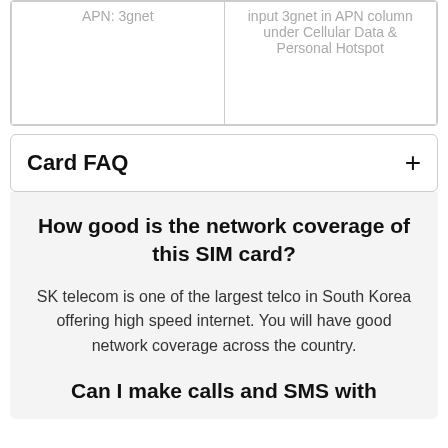| APN | Details |
| --- | --- |
| APN: 3gnet | input 3gnet in APN column under Cellular Data & Personal Hotspot |
Card FAQ +
How good is the network coverage of this SIM card?
SK telecom is one of the largest telco in South Korea offering high speed internet. You will have good network coverage across the country.
Can I make calls and SMS with